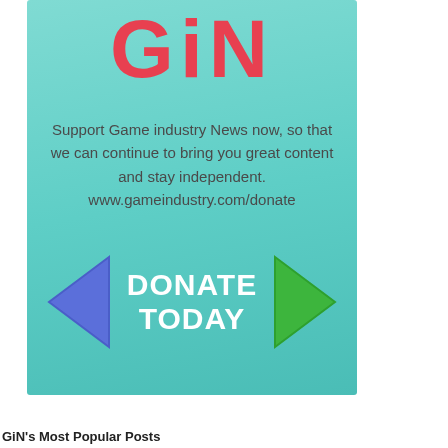[Figure (infographic): Game industry News donation advertisement. Teal/cyan background with large red GIN logo text at top. Body text reads: Support Game industry News now, so that we can continue to bring you great content and stay independent. www.gameindustry.com/donate. Bottom section shows blue left chevron arrow, white bold DONATE TODAY text, and green right chevron arrow.]
GiN's Most Popular Posts